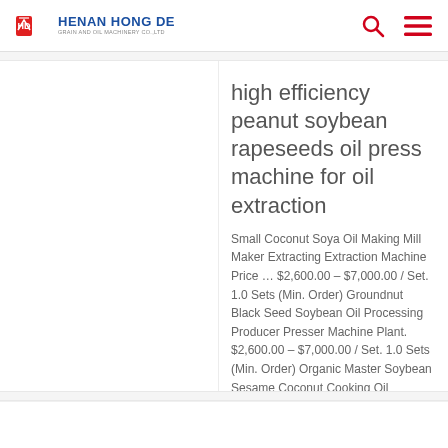HENAN HONG DE GRAIN AND OIL MACHINERY CO.,LTD
high efficiency peanut soybean rapeseeds oil press machine for oil extraction
Small Coconut Soya Oil Making Mill Maker Extracting Extraction Machine Price … $2,600.00 – $7,000.00 / Set. 1.0 Sets (Min. Order) Groundnut Black Seed Soybean Oil Processing Producer Presser Machine Plant. $2,600.00 – $7,000.00 / Set. 1.0 Sets (Min. Order) Organic Master Soybean Sesame Coconut Cooking Oil Extruder Extraction Machine For Sale …